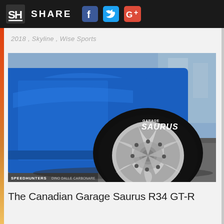SHARE
2018 , Skyline , Wise Sports
[Figure (photo): Close-up shot of a blue Nissan Skyline R34 GT-R showing the left rear quarter panel, carbon fiber side skirt canards, and a polished multi-spoke retro-style wheel with low-profile tire, on pavement at a car show. White 'GARAGE SAURUS' sticker visible on the body. SPEEDHUNTERS / DINO DALLE CARBONARE watermark in bottom left.]
The Canadian Garage Saurus R34 GT-R